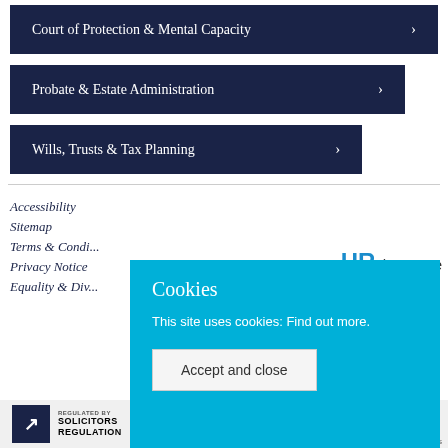Court of Protection & Mental Capacity >
Probate & Estate Administration >
Wills, Trusts & Tax Planning >
Accessibility
Sitemap
Terms & Condi...
Privacy Notice
Equality & Div...
[Figure (logo): HR showcase logo with blue HR letters and grey showcase text]
Cookies
This site uses cookies: Find out more.
Accept and close
[Figure (logo): Regulated by Solicitors Regulation Authority logo and Legal 500 badges at bottom]